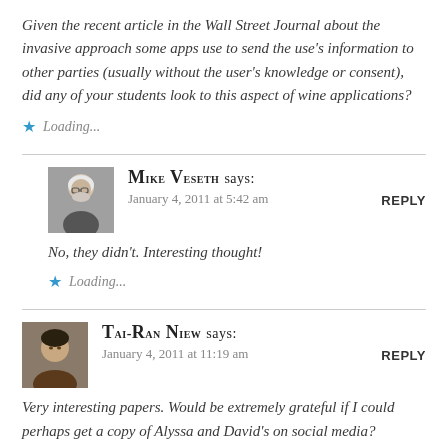Given the recent article in the Wall Street Journal about the invasive approach some apps use to send the use's information to other parties (usually without the user's knowledge or consent), did any of your students look to this aspect of wine applications?
Loading...
Mike Veseth says: January 4, 2011 at 5:42 am
No, they didn't. Interesting thought!
Loading...
Tai-Ran Niew says: January 4, 2011 at 11:19 am
Very interesting papers. Would be extremely grateful if I could perhaps get a copy of Alyssa and David's on social media?